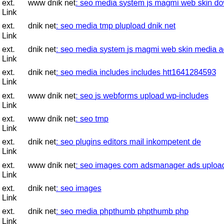ext. Link www dnik net: seo media system js magmi web skin download
ext. Link dnik net: seo media tmp plupload dnik net
ext. Link dnik net: seo media system js magmi web skin media administr
ext. Link dnik net: seo media includes includes htt1641284593
ext. Link www dnik net: seo js webforms upload wp-includes
ext. Link www dnik net: seo tmp
ext. Link dnik net: seo plugins editors mail inkompetent de
ext. Link www dnik net: seo images com adsmanager ads uploaded
ext. Link dnik net: seo images
ext. Link dnik net: seo media phpthumb phpthumb php
ext. Link s inkompetent de: links admin components com civicrm civicrm
ext. Link www dnik net: seo media system js media wp-includes compor